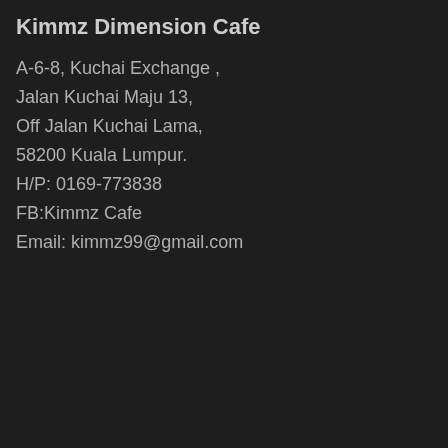Kimmz Dimension Cafe
A-6-8, Kuchai Exchange ,
Jalan Kuchai Maju 13,
Off Jalan Kuchai Lama,
58200 Kuala Lumpur.
H/P: 0169-773838
FB:Kimmz Cafe
Email: kimmz99@gmail.com
[Figure (other): A broken/loading image placeholder element shown as a small icon in a dark bordered box]